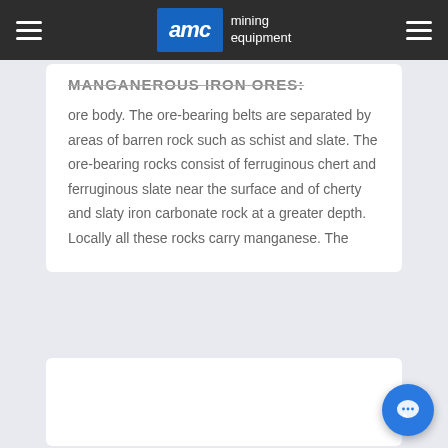AMC mining equipment
MANGANEROUS IRON ORES:
ore body. The ore-bearing belts are separated by areas of barren rock such as schist and slate. The ore-bearing rocks consist of ferruginous chert and ferruginous slate near the surface and of cherty and slaty iron carbonate rock at a greater depth. Locally all these rocks carry manganese. The